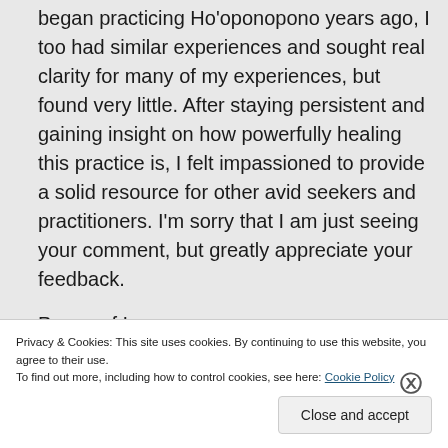began practicing Ho'oponopono years ago, I too had similar experiences and sought real clarity for many of my experiences, but found very little. After staying persistent and gaining insight on how powerfully healing this practice is, I felt impassioned to provide a solid resource for other avid seekers and practitioners. I'm sorry that I am just seeing your comment, but greatly appreciate your feedback.
Peace of I
Privacy & Cookies: This site uses cookies. By continuing to use this website, you agree to their use.
To find out more, including how to control cookies, see here: Cookie Policy
Close and accept